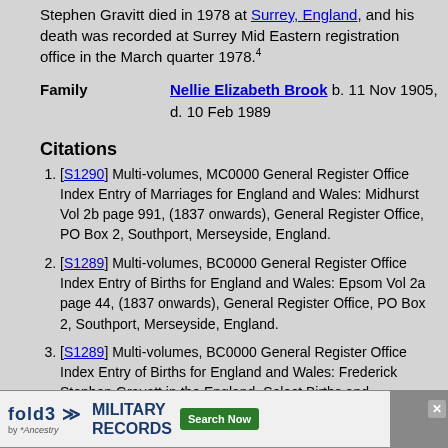Stephen Gravitt died in 1978 at Surrey, England, and his death was recorded at Surrey Mid Eastern registration office in the March quarter 1978.4
Family   Nellie Elizabeth Brook b. 11 Nov 1905, d. 10 Feb 1989
Citations
[S1290] Multi-volumes, MC0000 General Register Office Index Entry of Marriages for England and Wales: Midhurst Vol 2b page 991, (1837 onwards), General Register Office, PO Box 2, Southport, Merseyside, England.
[S1289] Multi-volumes, BC0000 General Register Office Index Entry of Births for England and Wales: Epsom Vol 2a page 44, (1837 onwards), General Register Office, PO Box 2, Southport, Merseyside, England.
[S1289] Multi-volumes, BC0000 General Register Office Index Entry of Births for England and Wales: Frederick Stephen Gravett in the England, Select Births and Christenings, 1538-1975, (1837 onwards), General Register Office, PO Box 2, Southport, Merseyside, England.
[S1291] Multi-volumes, DC0000 General Register Office Index Entry of Deaths for England and Wales: Surrey Mid Eastern Vol 17 page 280, (1837 onwards), General Register Office, PO Box 2, Southport, Merseyside, England.
[Figure (infographic): Fold3 Military Records advertisement banner by Ancestry with Search Now button]